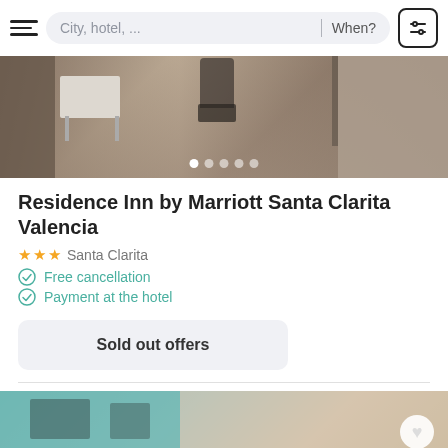City, hotel, ... | When?
[Figure (photo): Hotel room interior showing desk, chairs, and counter area with carousel dots indicator]
Residence Inn by Marriott Santa Clarita Valencia
★★★  Santa Clarita
Free cancellation
Payment at the hotel
Sold out offers
[Figure (photo): Bottom preview of another hotel room with teal/blue wall and heart button]